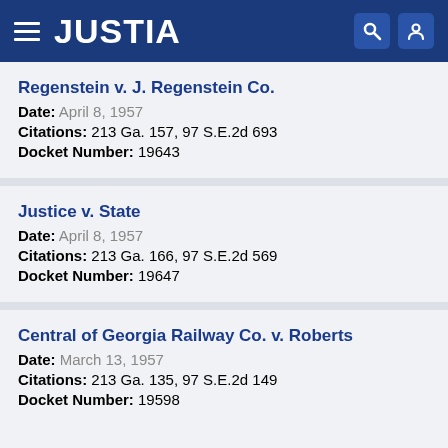JUSTIA
Regenstein v. J. Regenstein Co.
Date: April 8, 1957
Citations: 213 Ga. 157, 97 S.E.2d 693
Docket Number: 19643
Justice v. State
Date: April 8, 1957
Citations: 213 Ga. 166, 97 S.E.2d 569
Docket Number: 19647
Central of Georgia Railway Co. v. Roberts
Date: March 13, 1957
Citations: 213 Ga. 135, 97 S.E.2d 149
Docket Number: 19598